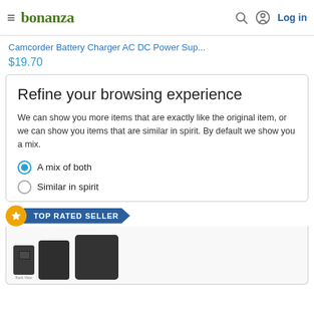bonanza  Log in
Camcorder Battery Charger AC DC Power Sup...
$19.70
Refine your browsing experience
We can show you more items that are exactly like the original item, or we can show you items that are similar in spirit. By default we show you a mix.
A mix of both
Similar in spirit
TOP RATED SELLER
[Figure (photo): Product photo showing camcorder battery charger components including a small charger with screen, a mid-size charger, and a large battery block, all in dark/black color]